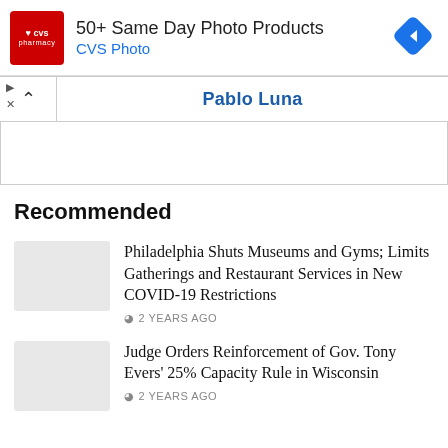[Figure (screenshot): CVS Pharmacy advertisement banner: CVS logo on red background, text '50+ Same Day Photo Products' and 'CVS Photo' in blue, blue diamond arrow icon on right]
Pablo Luna
Recommended
Philadelphia Shuts Museums and Gyms; Limits Gatherings and Restaurant Services in New COVID-19 Restrictions
2 YEARS AGO
Judge Orders Reinforcement of Gov. Tony Evers' 25% Capacity Rule in Wisconsin
2 YEARS AGO